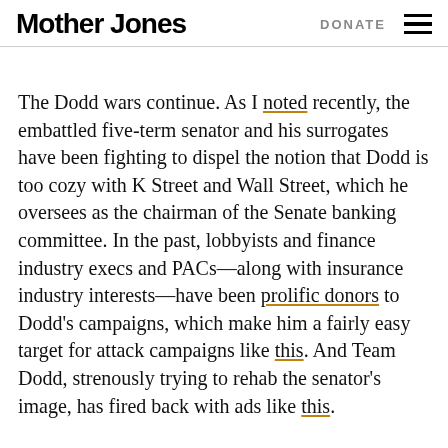Mother Jones   DONATE
The Dodd wars continue. As I noted recently, the embattled five-term senator and his surrogates have been fighting to dispel the notion that Dodd is too cozy with K Street and Wall Street, which he oversees as the chairman of the Senate banking committee. In the past, lobbyists and finance industry execs and PACs—along with insurance industry interests—have been prolific donors to Dodd's campaigns, which make him a fairly easy target for attack campaigns like this. And Team Dodd, strenously trying to rehab the senator's image, has fired back with ads like this.